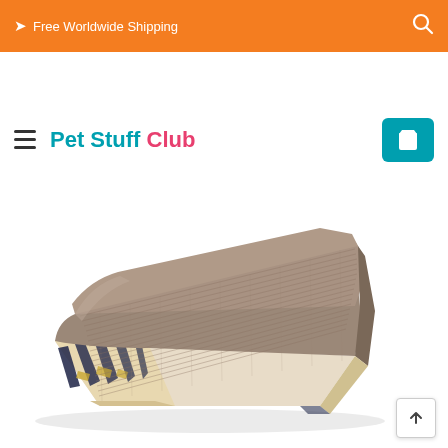➤ Free Worldwide Shipping
Pet Stuff Club
Back to category
[Figure (photo): Cat scratcher pad with brown textured top surface and decorative zebra/animal print pattern on the sides in dark navy and yellow colors. The pad is rectangular with rounded corners, photographed at an angle on a white background.]